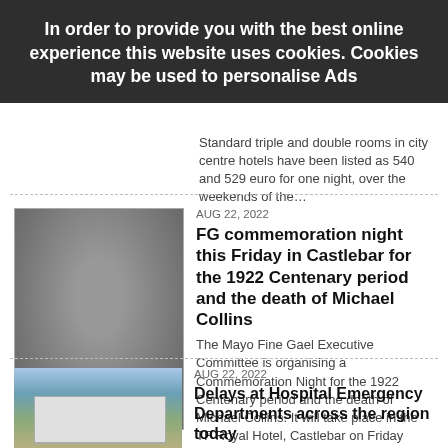In order to provide you with the best online experience this website uses cookies. Cookies may be used to personalise Ads
Standard triple and double rooms in city centre hotels have been listed as 540 and 529 euro for one night, over the weekends of the…
AUG 22, 2022
FG commemoration night this Friday in Castlebar for the 1922 Centenary period and the death of Michael Collins
The Mayo Fine Gael Executive Committee is organising a Commemoration Night for the 1922 Centenary period and the death of Michael Collins. It will take place in the TF Royal Hotel, Castlebar on Friday next, August 26th at 7:30pm. Admission is free and music…
AUG 22, 2022
Delays at Hospital Emergency Departments across the region today